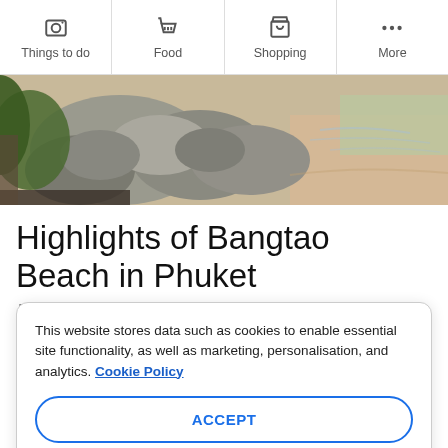Things to do | Food | Shopping | More
[Figure (photo): Aerial or close-up view of rocky coastline with stones, green foliage, sandy beach and water at Bangtao Beach, Phuket]
Highlights of Bangtao Beach in Phuket
Paragliding, waterskiing, jet skiing, and banana boat rides
This website stores data such as cookies to enable essential site functionality, as well as marketing, personalisation, and analytics. Cookie Policy
ACCEPT